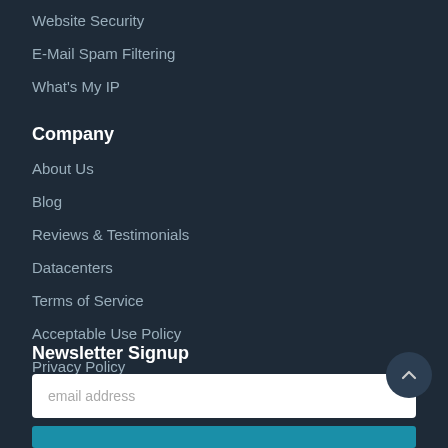Website Security
E-Mail Spam Filtering
What's My IP
Company
About Us
Blog
Reviews & Testimonials
Datacenters
Terms of Service
Acceptable Use Policy
Privacy Policy
Newsletter Signup
email address